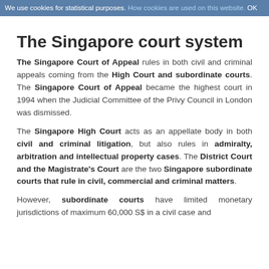We use cookies for statistical purposes. How cookies are used on this website. OK
The Singapore court system
The Singapore Court of Appeal rules in both civil and criminal appeals coming from the High Court and subordinate courts. The Singapore Court of Appeal became the highest court in 1994 when the Judicial Committee of the Privy Council in London was dismissed.
The Singapore High Court acts as an appellate body in both civil and criminal litigation, but also rules in admiralty, arbitration and intellectual property cases. The District Court and the Magistrate's Court are the two Singapore subordinate courts that rule in civil, commercial and criminal matters.
However, subordinate courts have limited monetary jurisdictions of maximum 60,000 S$ in a civil case and